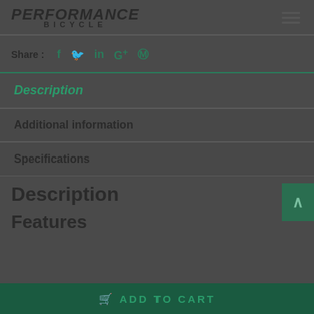PERFORMANCE BICYCLE
Share : f t in G+ p
Description
Additional information
Specifications
Description
Features
ADD TO CART